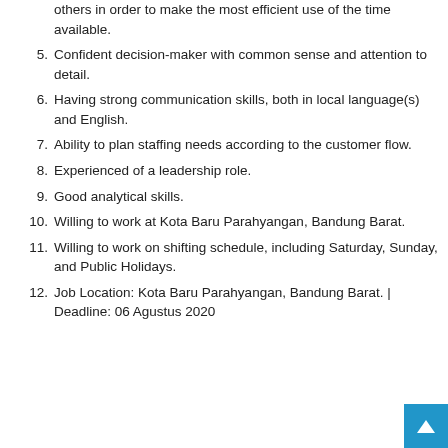others in order to make the most efficient use of the time available.
5. Confident decision-maker with common sense and attention to detail.
6. Having strong communication skills, both in local language(s) and English.
7. Ability to plan staffing needs according to the customer flow.
8. Experienced of a leadership role.
9. Good analytical skills.
10. Willing to work at Kota Baru Parahyangan, Bandung Barat.
11. Willing to work on shifting schedule, including Saturday, Sunday, and Public Holidays.
12. Job Location: Kota Baru Parahyangan, Bandung Barat. | Deadline: 06 Agustus 2020